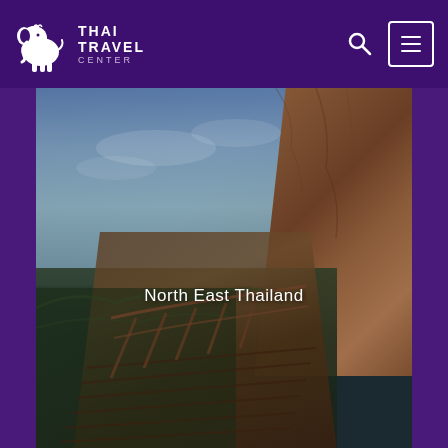[Figure (logo): Thai Travel Center logo: white decorative elephant with Thai-style ornamental head on dark purple background, with brand text THAI TRAVEL CENTER in white capitals]
THAI TRAVEL CENTER
[Figure (photo): Scenic outdoor photograph of a wooden boardwalk/walkway along a rocky red-brown cliff face with panoramic view of a green valley and city below under a blue cloudy sky. The setting is North East Thailand.]
North East Thailand